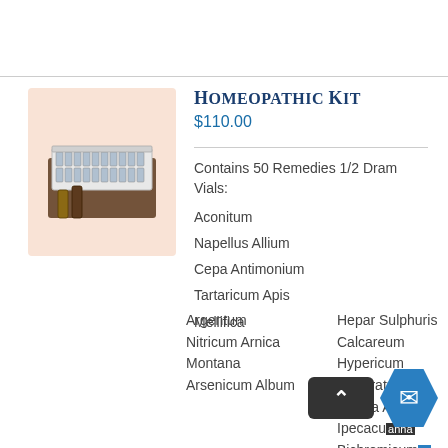[Figure (photo): Box of homeopathic remedy vials shown on a light peach/salmon background]
Homeopathic Kit
$110.00
Contains 50 Remedies 1/2 Dram Vials:
Aconitum
Napellus Allium
Cepa Antimonium
Tartaricum Apis
Mellifica
Argentum
Nitricum Arnica
Montana
Arsenicum Album
Hepar Sulphuris Calcareum
Hypericum Perforatum
Ignatia Amara
Ipecacuanha
Bichromicum
Kali Mur...